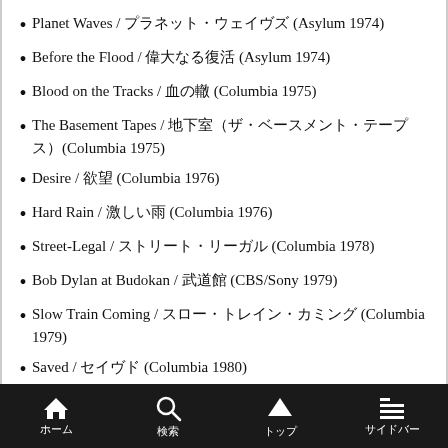Planet Waves / プラネット・ウェイヴズ (Asylum 1974)
Before the Flood / 偉大なる復活 (Asylum 1974)
Blood on the Tracks / 血の轍 (Columbia 1975)
The Basement Tapes / 地下室（ザ・ベースメント・テープス）(Columbia 1975)
Desire / 欲望 (Columbia 1976)
Hard Rain / 激しい雨 (Columbia 1976)
Street-Legal / ストリート・リーガル (Columbia 1978)
Bob Dylan at Budokan / 武道館 (CBS/Sony 1979)
Slow Train Coming / スロー・トレイン・カミング (Columbia 1979)
Saved / セイヴド (Columbia 1980)
ホーム　検索　トップ　サイドバー